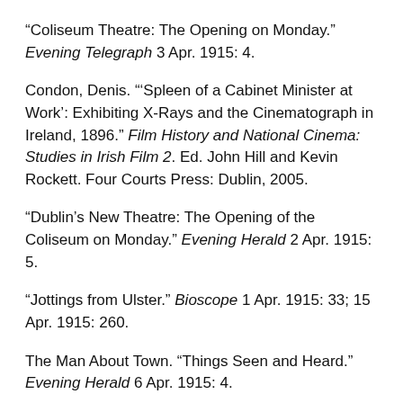“Coliseum Theatre: The Opening on Monday.” Evening Telegraph 3 Apr. 1915: 4.
Condon, Denis. “‘Spleen of a Cabinet Minister at Work’: Exhibiting X-Rays and the Cinematograph in Ireland, 1896.” Film History and National Cinema: Studies in Irish Film 2. Ed. John Hill and Kevin Rockett. Four Courts Press: Dublin, 2005.
“Dublin’s New Theatre: The Opening of the Coliseum on Monday.” Evening Herald 2 Apr. 1915: 5.
“Jottings from Ulster.” Bioscope 1 Apr. 1915: 33; 15 Apr. 1915: 260.
The Man About Town. “Things Seen and Heard.” Evening Herald 6 Apr. 1915: 4.